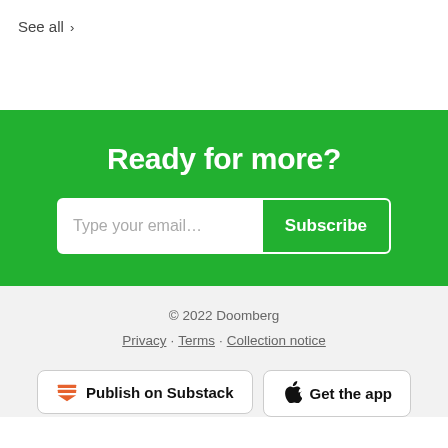See all ›
Ready for more?
Type your email...  Subscribe
© 2022 Doomberg
Privacy · Terms · Collection notice
Publish on Substack
Get the app